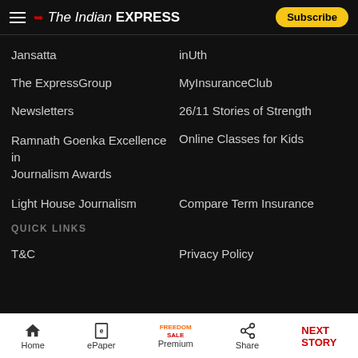The Indian EXPRESS — Subscribe
Jansatta
inUth
The ExpressGroup
MyInsuranceClub
Newsletters
26/11 Stories of Strength
Ramnath Goenka Excellence in Journalism Awards
Online Classes for Kids
Light House Journalism
Compare Term Insurance
QUICK LINKS
T&C
Privacy Policy
Home  ePaper  Premium (FREEDOM SALE)  Share  NEXT STORY